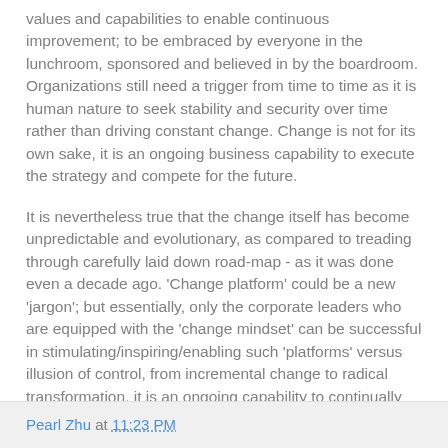values and capabilities to enable continuous improvement; to be embraced by everyone in the lunchroom, sponsored and believed in by the boardroom. Organizations still need a trigger from time to time as it is human nature to seek stability and security over time rather than driving constant change. Change is not for its own sake, it is an ongoing business capability to execute the strategy and compete for the future.
It is nevertheless true that the change itself has become unpredictable and evolutionary, as compared to treading through carefully laid down road-map - as it was done even a decade ago. 'Change platform' could be a new 'jargon'; but essentially, only the corporate leaders who are equipped with the 'change mindset' can be successful in stimulating/inspiring/enabling such 'platforms' versus illusion of control, from incremental change to radical transformation, it is an ongoing capability to continually move organizations forward.
Pearl Zhu at 11:23 PM